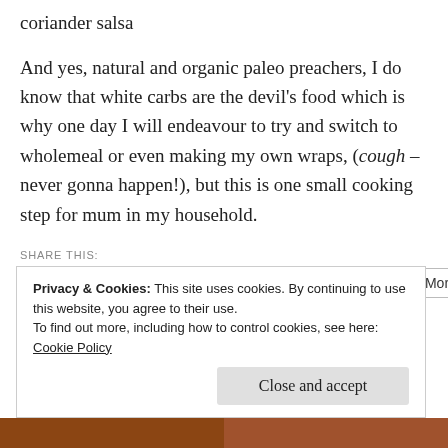coriander salsa
And yes, natural and organic paleo preachers, I do know that white carbs are the devil’s food which is why one day I will endeavour to try and switch to wholemeal or even making my own wraps, (cough – never gonna happen!), but this is one small cooking step for mum in my household.
SHARE THIS:
Tweet  Email  Save  SHARE  More
Privacy & Cookies: This site uses cookies. By continuing to use this website, you agree to their use.
To find out more, including how to control cookies, see here:
Cookie Policy
Close and accept